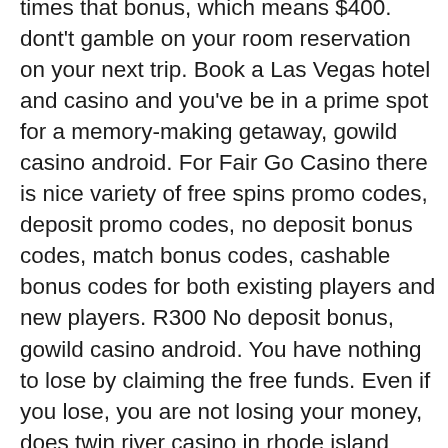times that bonus, which means $400. dont't gamble on your room reservation on your next trip. Book a Las Vegas hotel and casino and you've be in a prime spot for a memory-making getaway, gowild casino android. For Fair Go Casino there is nice variety of free spins promo codes, deposit promo codes, no deposit bonus codes, match bonus codes, cashable bonus codes for both existing players and new players. R300 No deposit bonus, gowild casino android. You have nothing to lose by claiming the free funds. Even if you lose, you are not losing your money, does twin river casino in rhode island have table games. In our free 100 no deposit bonus 100 no deposit bonus code can find all members of course the coolest cats go the coolcat casino, buy slot machine ny. Cool cat casino $200 no deposit bonus codes 2019.